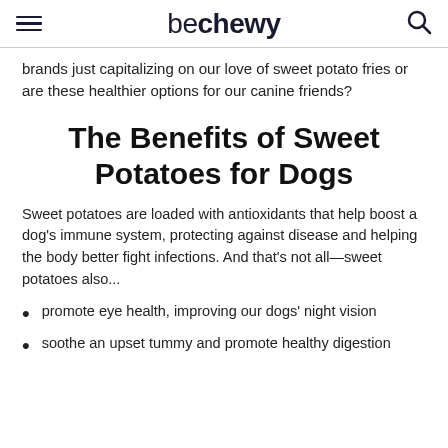be chewy
brands just capitalizing on our love of sweet potato fries or are these healthier options for our canine friends?
The Benefits of Sweet Potatoes for Dogs
Sweet potatoes are loaded with antioxidants that help boost a dog's immune system, protecting against disease and helping the body better fight infections. And that's not all—sweet potatoes also...
promote eye health, improving our dogs' night vision
soothe an upset tummy and promote healthy digestion